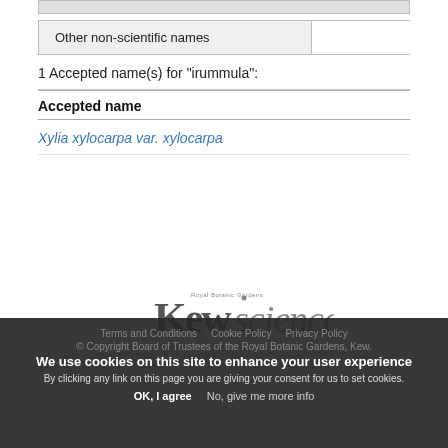| Other non-scientific names |
| --- |
1 Accepted name(s) for "irummula":
| Accepted name |
| --- |
| Xylia xylocarpa var. xylocarpa |
[Figure (logo): Kew Science logo - Royal Botanic Gardens Kew Science]
We use cookies on this site to enhance your user experience
By clicking any link on this page you are giving your consent for us to set cookies.
OK, I agree    No, give me more info
Terms and Conditions   Privacy Policy   Privacy Policy
© Copyright Board of Trustees of the Royal Botanic Gardens, Kew.